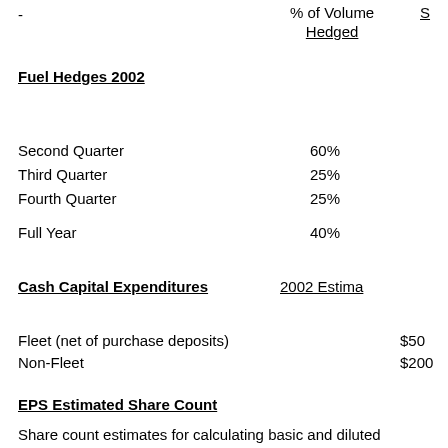-
% of Volume Hedged    S
Fuel Hedges 2002
Second Quarter    60%
Third Quarter    25%
Fourth Quarter    25%
Full Year    40%
Cash Capital Expenditures    2002 Estima
Fleet (net of purchase deposits)    $50
Non-Fleet    $200
EPS Estimated Share Count
Share count estimates for calculating basic and diluted